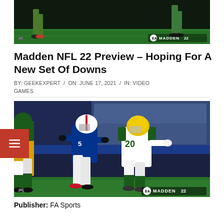[Figure (screenshot): Top cropped screenshot of Madden NFL 22 gameplay showing player legs on a football field with green grass. EA and MADDEN 22 logo visible in bottom-right corner.]
Madden NFL 22 Preview – Hoping For A New Set Of Downs
BY: GEEKEXPERT / ON: JUNE 17, 2021 / IN: VIDEO GAMES
[Figure (screenshot): Madden NFL 22 gameplay screenshot showing a Buffalo Bills player in blue uniform running past a Green Bay Packers player wearing number 20 in white and yellow uniform. Stadium crowd visible in background. EA and MADDEN 22 logo in bottom-right corner.]
Publisher: FA Sports